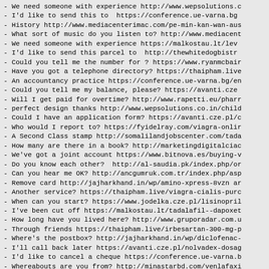- We need someone with experience http://www.wepsolutions.c
- I'd like to send this to  https://conference.ue-varna.bg
- History http://www.mediacenterimac.com/pe-min-kan-wan-aus
- What sort of music do you listen to? http://www.mediacent
- We need someone with experience https://malkostau.lt/lev
- I'd like to send this parcel to  http://thewhitedogbistr
- Could you tell me the number for ? https://www.ryanmcbair
- Have you got a telephone directory? https://thaipham.live
- An accountancy practice https://conference.ue-varna.bg/en
- Could you tell me my balance, please? https://avanti.cze
- Will I get paid for overtime? http://www.rapetti.eu/pharr
- perfect design thanks http://www.wepsolutions.co.in/child
- Could I have an application form? https://avanti.cze.pl/c
- Who would I report to? https://fyidelray.com/viagra-onlir
- A Second Class stamp http://somalilandjobscenter.com/tada
- How many are there in a book? http://marketingdigitalciac
- We've got a joint account https://www.bitnova.es/buying-v
- Do you know each other?  http://al-saudia.pk/index.php/or
- Can you hear me OK? http://ancgumruk.com.tr/index.php/asp
- Remove card http://jajharkhand.in/wp/amino-xpress-8vzn ar
- Another service? https://thaipham.live/viagra-cialis-purc
- When can you start? https://www.jodelka.cze.pl/lisinopril
- I've been cut off https://malkostau.lt/tadalafil--dapoxet
- How long have you lived here? http://www.gruporadar.com.u
- Through friends https://thaipham.live/irbesartan-300-mg-p
- Where's the postbox? http://jajharkhand.in/wp/diclofenac-
- I'll call back later https://avanti.cze.pl/nolvadex-dosag
- I'd like to cancel a cheque https://conference.ue-varna.b
- Whereabouts are you from? http://minastarbd.com/venlafaxi
- I'd like to open a business account https://avanti.cze